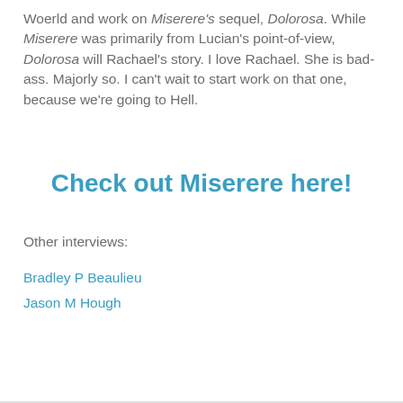Woerld and work on Miserere's sequel, Dolorosa. While Miserere was primarily from Lucian's point-of-view, Dolorosa will Rachael's story. I love Rachael. She is bad-ass. Majorly so. I can't wait to start work on that one, because we're going to Hell.
Check out Miserere here!
Other interviews:
Bradley P Beaulieu
Jason M Hough